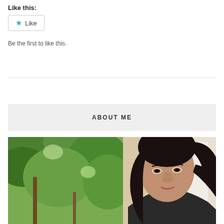Like this:
[Figure (other): Like button widget with star icon]
Be the first to like this.
ABOUT ME
[Figure (photo): Portrait photo of a woman with dark hair outdoors with green trees in background]